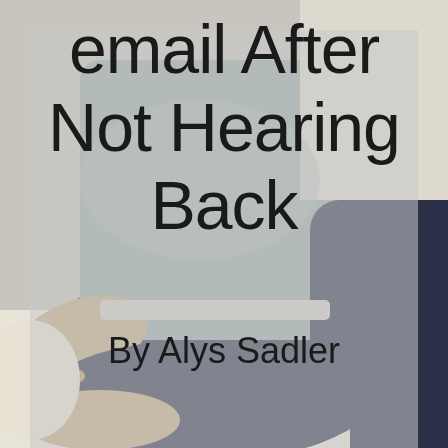[Figure (photo): Background photo of a person sitting on a couch or floor, wearing jeans and a grey shirt, with a laptop on their lap. The image has warm, slightly blurred tones with beige/cream lower portion.]
email After Not Hearing Back
By Alys Sadler